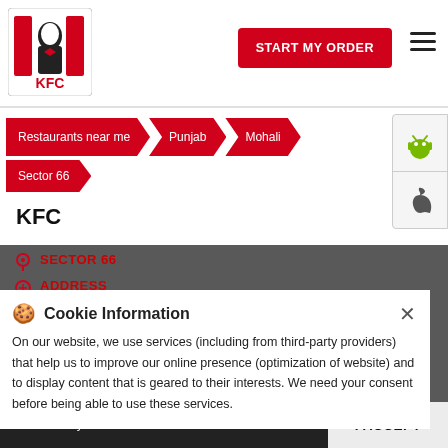[Figure (logo): KFC logo with Colonel Sanders]
START MY ORDER
Restaurants near me
Punjab
Mohali
Sector 66
KFC
SECTOR 66
ADDRESS
S.N. 10/4th Floor, Bestech Square, Plot, Industrial Plot No 1, Phase 0, Sector 66, Mohali - 160059
STORE TIMING
Open until 11:00 PM  OPEN NOW
Cookie Information
On our website, we use services (including from third-party providers) that help us to improve our online presence (optimization of website) and to display content that is geared to their interests. We need your consent before being able to use these services.
Delivery  Dine In  Takeaway  I ACCEPT